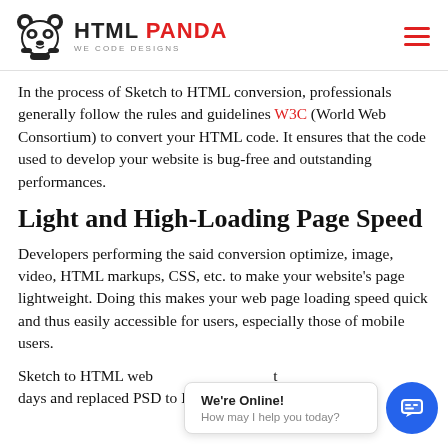HTML PANDA — WE CODE DESIGNS
In the process of Sketch to HTML conversion, professionals generally follow the rules and guidelines W3C (World Web Consortium) to convert your HTML code. It ensures that the code used to develop your website is bug-free and outstanding performances.
Light and High-Loading Page Speed
Developers performing the said conversion optimize, image, video, HTML markups, CSS, etc. to make your website's page lightweight. Doing this makes your web page loading speed quick and thus easily accessible for users, especially those of mobile users.
Sketch to HTML web... days and replaced PSD to HTML conversion to a large
[Figure (other): Chat widget overlay showing 'We're Online!' and 'How may I help you today?' with a blue circular chat icon button]